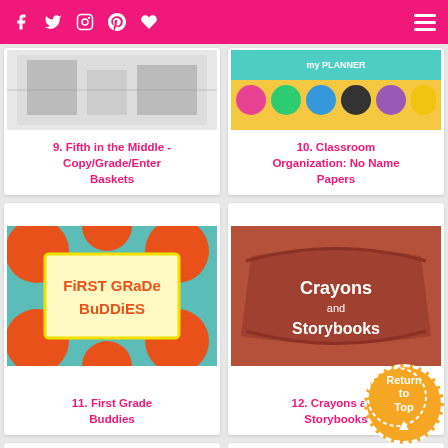Navigation bar with social media icons and menu
[Figure (screenshot): Card image for Fifth in the Middle - Copy/Grade/Enter Baskets blog post]
9. Fifth in the Middle - Copy/Grade/Enter Baskets
[Figure (screenshot): Card image for Classroom Organization: No Name Papers blog post]
10. Classroom Organization: No Name Papers
[Figure (screenshot): Card image showing First Grade Buddies logo with colorful polka dot border]
11. First Grade Buddies
[Figure (screenshot): Card image showing Crayons and Storybooks logo on brown background]
12. Crayons and Storybooks
[Figure (screenshot): Card image showing The Short and Sassy Teacher logo with colorful text]
[Figure (screenshot): Card image showing Foreman Teaches blog logo]
Return to Top